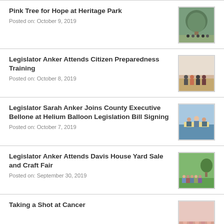Pink Tree for Hope at Heritage Park
Posted on: October 9, 2019
[Figure (photo): Photo of a pink tree at Heritage Park with group of people]
Legislator Anker Attends Citizen Preparedness Training
Posted on: October 8, 2019
[Figure (photo): Group photo at Citizen Preparedness Training event]
Legislator Sarah Anker Joins County Executive Bellone at Helium Balloon Legislation Bill Signing
Posted on: October 7, 2019
[Figure (photo): Photo of bill signing event for Helium Balloon Legislation]
Legislator Anker Attends Davis House Yard Sale and Craft Fair
Posted on: September 30, 2019
[Figure (photo): Group photo at Davis House Yard Sale and Craft Fair]
Taking a Shot at Cancer
[Figure (photo): Photo related to Taking a Shot at Cancer event]